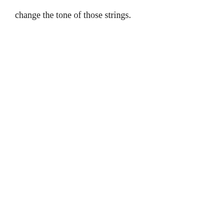change the tone of those strings.